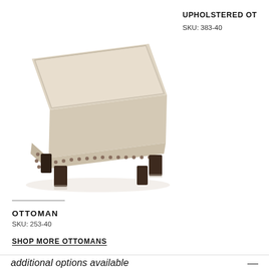[Figure (photo): Beige upholstered square ottoman with nailhead trim and dark wood legs, photographed on white background]
UPHOLSTERED OT
SKU: 383-40
OTTOMAN
SKU: 253-40
SHOP MORE OTTOMANS
additional options available
[Figure (photo): Bottom image strip showing furniture/fabric swatches in brown and tan tones]